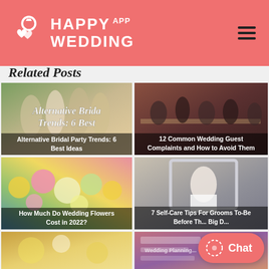[Figure (logo): Happy Wedding App logo with ring and hearts icon on pink/salmon background header with hamburger menu]
Related Posts
[Figure (photo): Bridesmaids in pink dresses outdoors with overlay text 'Alternative Bridal Trends: 6 Best' and caption 'Alternative Bridal Party Trends: 6 Best Ideas']
[Figure (photo): Wedding guests at dinner tables with caption '12 Common Wedding Guest Complaints and How to Avoid Them']
[Figure (photo): Colorful wedding flower bouquet with caption 'How Much Do Wedding Flowers Cost in 2022?']
[Figure (photo): Groom in tuxedo adjusting bow tie in mirror with caption '7 Self-Care Tips For Grooms To-Be Before The Big Day']
[Figure (photo): Bottom left partial card with gold/sparkle theme]
[Figure (photo): Bottom right partial card with pink/purple theme and wedding planning text]
Chat